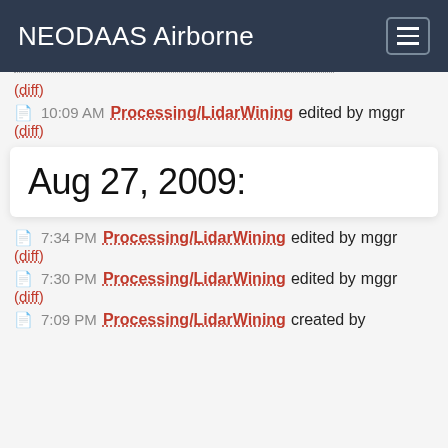NEODAAS Airborne
(diff)
📄 10:09 AM Processing/LidarWining edited by mggr
(diff)
Aug 27, 2009:
📄 7:34 PM Processing/LidarWining edited by mggr
(diff)
📄 7:30 PM Processing/LidarWining edited by mggr
(diff)
📄 7:09 PM Processing/LidarWining created by